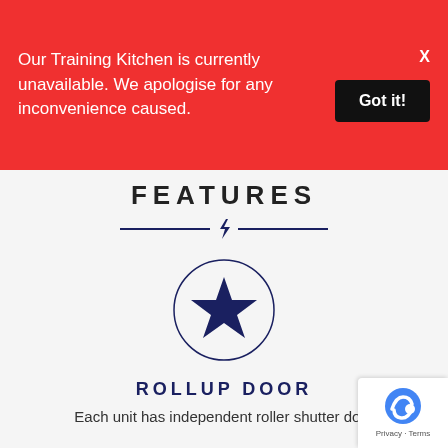Our Training Kitchen is currently unavailable. We apologise for any inconvenience caused.
FEATURES
[Figure (illustration): Horizontal divider with a lightning bolt icon in the center, navy blue color]
[Figure (illustration): A navy blue star icon inside a circular ring outline]
ROLLUP DOOR
Each unit has independent roller shutter door